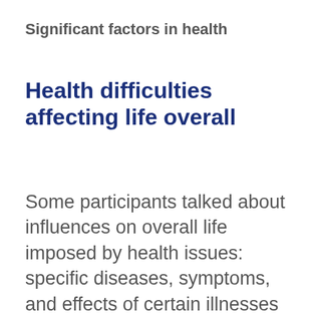Significant factors in health
Health difficulties affecting life overall
Some participants talked about influences on overall life imposed by health issues: specific diseases, symptoms, and effects of certain illnesses and circumstances.